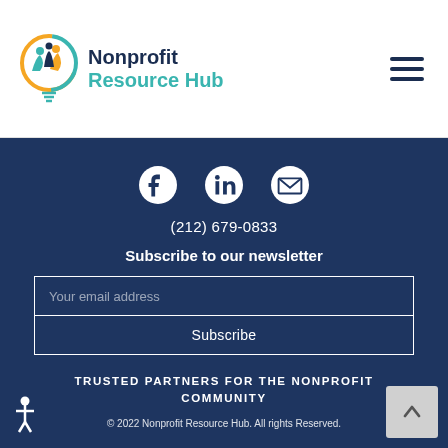[Figure (logo): Nonprofit Resource Hub logo with colorful icon of people and lightbulb, next to text 'Nonprofit Resource Hub' in navy and teal]
[Figure (infographic): Hamburger menu icon (three horizontal navy lines) in the top-right corner]
Social icons: Facebook, LinkedIn, Email
(212) 679-0833
Subscribe to our newsletter
[Your email address]
[Subscribe]
TRUSTED PARTNERS FOR THE NONPROFIT COMMUNITY
© 2022 Nonprofit Resource Hub. All rights Reserved.